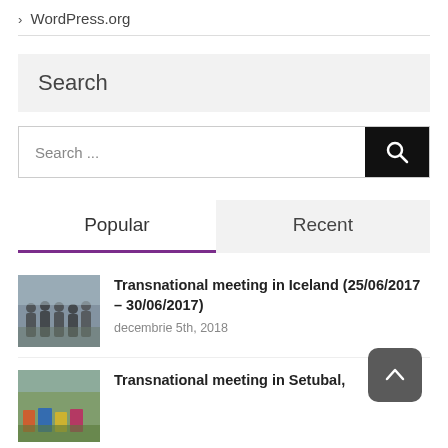> WordPress.org
Search
Search ...
Popular
Recent
[Figure (photo): Thumbnail photo of a group of people outdoors in Iceland]
Transnational meeting in Iceland (25/06/2017 – 30/06/2017)
decembrie 5th, 2018
[Figure (photo): Thumbnail photo of a colorful outdoor scene for Setubal meeting]
Transnational meeting in Setubal,